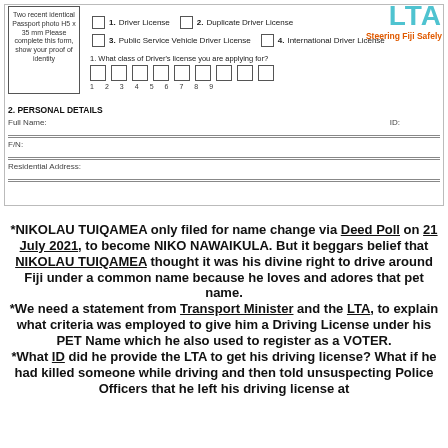[Figure (other): LTA (Land Transport Authority) logo with text 'LTA' in teal and tagline 'Steering Fiji Safely' in orange]
Two recent identical Passport photo H5 x 35 mm Please complete this form, show your proof of identity
1. Driver License   2. Duplicate Driver License
3. Public Service Vehicle Driver License   4. International Driver License
1. What class of Driver's license you are applying for?
Class boxes numbered 1 through 9
2. PERSONAL DETAILS
Full Name:   ID:
F/N:
Residential Address:
*NIKOLAU TUIQAMEA only filed for name change via Deed Poll on 21 July 2021, to become NIKO NAWAIKULA. But it beggars belief that NIKOLAU TUIQAMEA thought it was his divine right to drive around Fiji under a common name because he loves and adores that pet name.
*We need a statement from Transport Minister and the LTA, to explain what criteria was employed to give him a Driving License under his PET Name which he also used to register as a VOTER.
*What ID did he provide the LTA to get his driving license? What if he had killed someone while driving and then told unsuspecting Police Officers that he left his driving license at